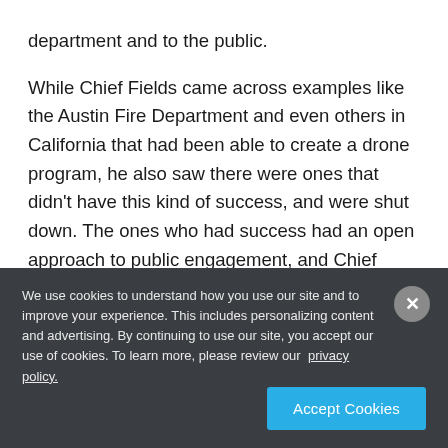department and to the public.

While Chief Fields came across examples like the Austin Fire Department and even others in California that had been able to create a drone program, he also saw there were ones that didn't have this kind of success, and were shut down. The ones who had success had an open approach to public engagement, and Chief Fields made sure that concept became an
We use cookies to understand how you use our site and to improve your experience. This includes personalizing content and advertising. By continuing to use our site, you accept our use of cookies. To learn more, please review our privacy policy.